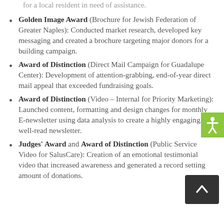for a local resident in need of assistance.
Golden Image Award (Brochure for Jewish Federation of Greater Naples): Conducted market research, developed key messaging and created a brochure targeting major donors for a building campaign.
Award of Distinction (Direct Mail Campaign for Guadalupe Center): Development of attention-grabbing, end-of-year direct mail appeal that exceeded fundraising goals.
Award of Distinction (Video – Internal for Priority Marketing): Launched content, formatting and design changes for monthly E-newsletter using data analysis to create a highly engaging, well-read newsletter.
Judges' Award and Award of Distinction (Public Service Video for SalusCare): Creation of an emotional testimonial video that increased awareness and generated a record setting amount of donations.